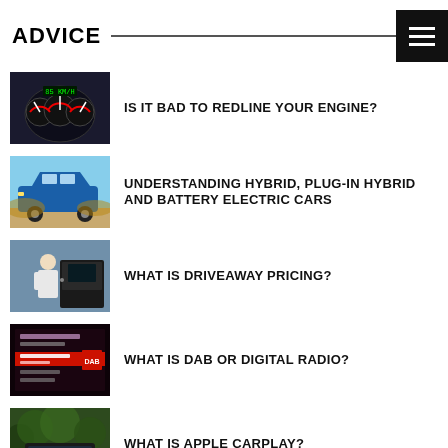ADVICE
IS IT BAD TO REDLINE YOUR ENGINE?
UNDERSTANDING HYBRID, PLUG-IN HYBRID AND BATTERY ELECTRIC CARS
WHAT IS DRIVEAWAY PRICING?
WHAT IS DAB OR DIGITAL RADIO?
WHAT IS APPLE CARPLAY?